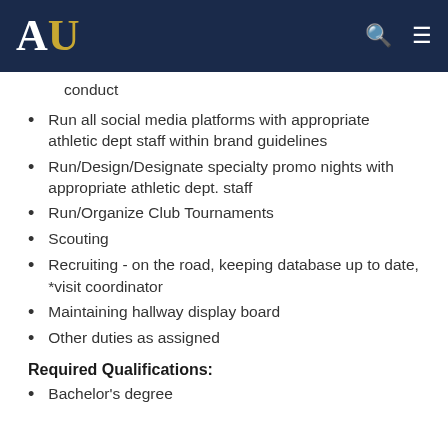AU
conduct
Run all social media platforms with appropriate athletic dept staff within brand guidelines
Run/Design/Designate specialty promo nights with appropriate athletic dept. staff
Run/Organize Club Tournaments
Scouting
Recruiting - on the road, keeping database up to date, *visit coordinator
Maintaining hallway display board
Other duties as assigned
Required Qualifications:
Bachelor's degree